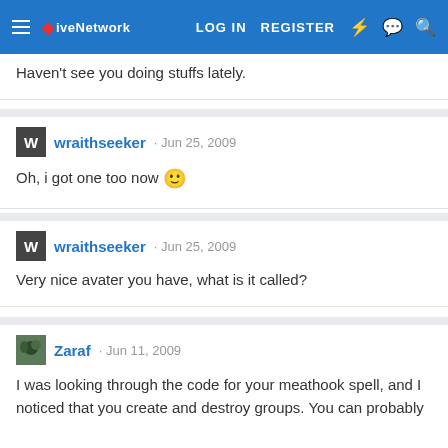LOG IN  REGISTER
Haven't see you doing stuffs lately.
wraithseeker · Jun 25, 2009
Oh, i got one too now 🙂
wraithseeker · Jun 25, 2009
Very nice avater you have, what is it called?
Zaraf · Jun 11, 2009
I was looking through the code for your meathook spell, and I noticed that you create and destroy groups. You can probably